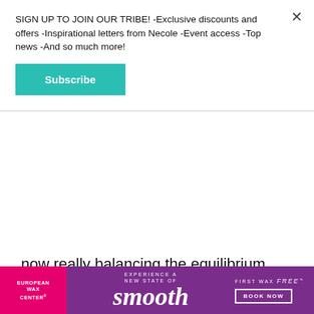SIGN UP TO JOIN OUR TRIBE! -Exclusive discounts and offers -Inspirational letters from Necole -Event access -Top news -And so much more!
Subscribe
now really balancing the equilibrium. And a big part of that is the fact that I have an abbreviated schedule. So I can be like, you know what, I'm going to do this production this day and I'm ending at this time.
And then I'm going to go downstairs and I'm gonna hang out with my husband on the patio and play
[Figure (infographic): European Wax Center advertisement banner. Purple background with pink left section showing 'EUROPEAN WAX CENTER' logo. Center text reads 'EXPERIENCE A NEW STATE OF smooth' in large italic font. Right side reads 'FIRST WAX free BOOK NOW' with a bordered button.]